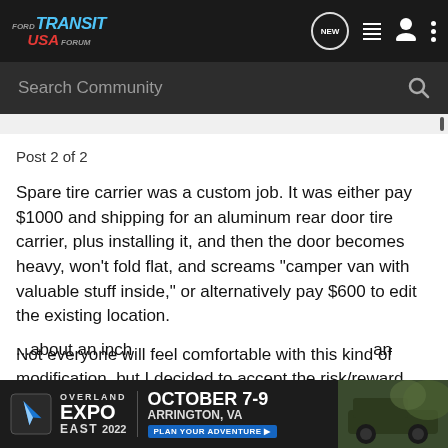Ford Transit USA Forum
Search Community
Post 2 of 2
Spare tire carrier was a custom job. It was either pay $1000 and shipping for an aluminum rear door tire carrier, plus installing it, and then the door becomes heavy, won't fold flat, and screams "camper van with valuable stuff inside," or alternatively pay $600 to edit the existing location.
Not everyone will feel comfortable with this kind of modification, but I decided to accept the risk/reward. Installer thinks it's stronger than before. Time will tell. The small welded steel bar in the center keeps the tire from barely shifting forward a tad due to th... about an inch ... an
[Figure (screenshot): Overland Expo East 2022 advertisement banner showing October 7-9, Arrington, VA with Plan Your Adventure button]